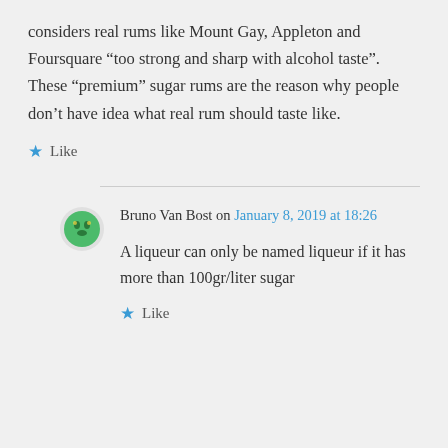considers real rums like Mount Gay, Appleton and Foursquare “too strong and sharp with alcohol taste”. These “premium” sugar rums are the reason why people don’t have idea what real rum should taste like.
Like
Bruno Van Bost on January 8, 2019 at 18:26
A liqueur can only be named liqueur if it has more than 100gr/liter sugar
Like